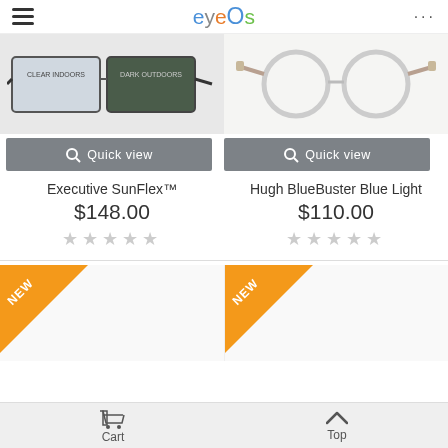eyeOs
[Figure (photo): Top portion of two eyeglasses frames side by side — left shows 'CLEAR INDOORS' and 'DARK OUTDOORS' labels on a photochromic lens frame, right shows round white/silver frames]
Quick view
Quick view
Executive SunFlex™
$148.00
★★★★★ (empty stars)
Hugh BlueBuster Blue Light
$110.00
★★★★★ (empty stars)
[Figure (photo): New product tile with orange NEW badge in top-left corner]
[Figure (photo): New product tile with orange NEW badge in top-left corner]
Cart    Top